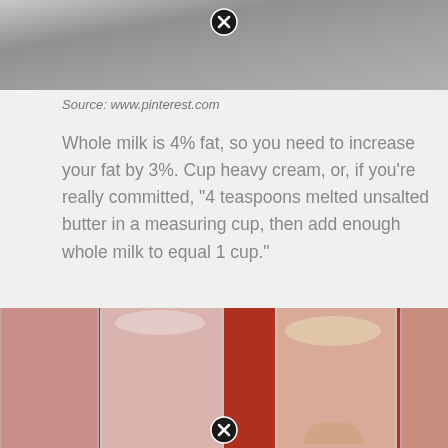[Figure (photo): Top portion of a photo showing a dark stone/granite surface, partially visible with a close button overlay at top center]
Source: www.pinterest.com
Whole milk is 4% fat, so you need to increase your fat by 3%. Cup heavy cream, or, if you're really committed, "4 teaspoons melted unsalted butter in a measuring cup, then add enough whole milk to equal 1 cup."
[Figure (photo): Photo of several mason jars filled with milk/cream on a red surface, with a hand visible in the lower right. A close button is overlaid at the bottom center.]